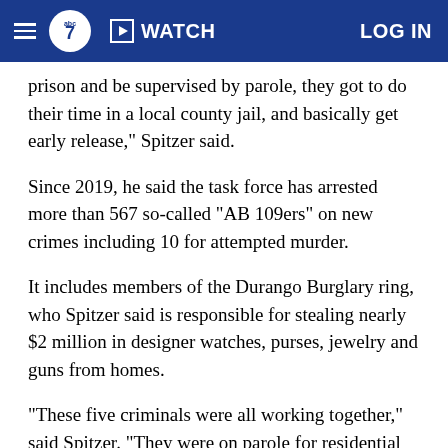ABC7 — WATCH | LOG IN
prison and be supervised by parole, they got to do their time in a local county jail, and basically get early release," Spitzer said.
Since 2019, he said the task force has arrested more than 567 so-called "AB 109ers" on new crimes including 10 for attempted murder.
It includes members of the Durango Burglary ring, who Spitzer said is responsible for stealing nearly $2 million in designer watches, purses, jewelry and guns from homes.
"These five criminals were all working together," said Spitzer. "They were on parole for residential burglary